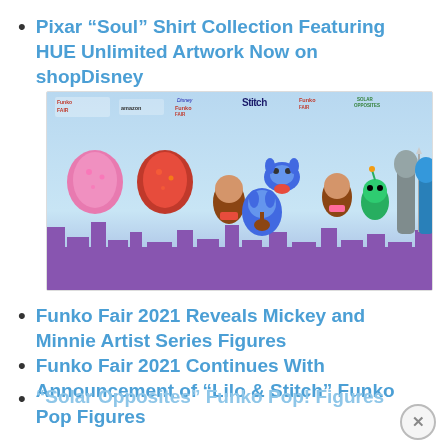Pixar “Soul” Shirt Collection Featuring HUE Unlimited Artwork Now on shopDisney
[Figure (photo): Funko Fair 2021 banner image showing multiple Funko Pop figures including Mickey and Minnie Artist Series, Lilo and Stitch characters, and Solar Opposites characters on a purple and blue gradient background. Multiple brand logos visible at top including Funko Fair, Amazon, Disney, and Solar Opposites.]
Funko Fair 2021 Reveals Mickey and Minnie Artist Series Figures
Funko Fair 2021 Continues With Announcement of “Lilo & Stitch” Funko Pop Figures
“Solar Opposites” Funko Pop! Figures